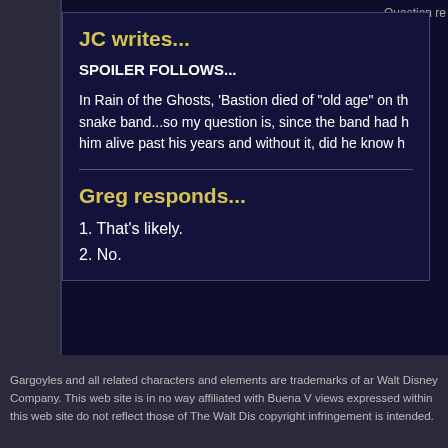Question re
JC writes...
SPOILER FOLLOWS...
In Rain of the Ghosts, 'Bastion died of "old age" on th snake band...so my question is, since the band had h him alive past his years and without it, did he know h
Greg responds...
1. That's likely.
2. No.
Gargoyles and all related characters and elements are trademarks of an Walt Disney Company. This web site is in no way affiliated with Buena V views expressed within this web site do not reflect those of The Walt Dis copyright infringement is intended.